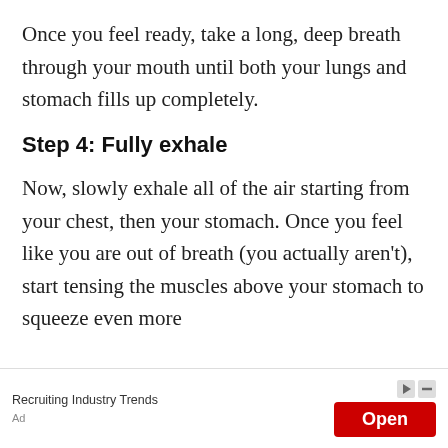Once you feel ready, take a long, deep breath through your mouth until both your lungs and stomach fills up completely.
Step 4: Fully exhale
Now, slowly exhale all of the air starting from your chest, then your stomach. Once you feel like you are out of breath (you actually aren't), start tensing the muscles above your stomach to squeeze even more
[Figure (other): Advertisement banner for 'Recruiting Industry Trends' with an 'Open' button on a red background, and an 'Ad' label.]